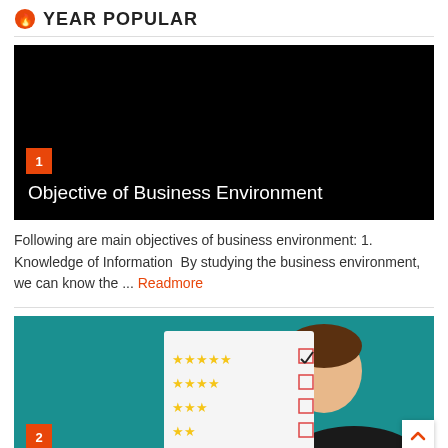YEAR POPULAR
[Figure (photo): Black background image with orange badge numbered 1 and article title overlay 'Objective of Business Environment']
Following are main objectives of business environment: 1. Knowledge of Information  By studying the business environment, we can know the ... Readmore
[Figure (illustration): Teal background illustration showing a person holding a checklist/survey form with star ratings and checkboxes, orange badge numbered 2]